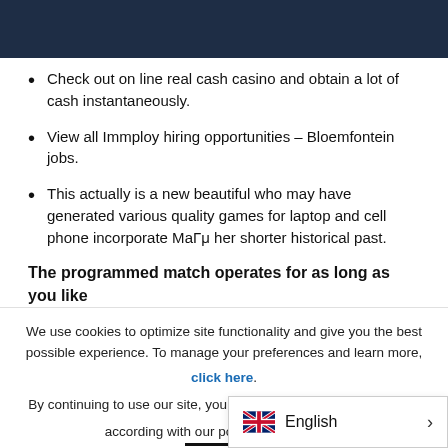Check out on line real cash casino and obtain a lot of cash instantaneously.
View all Immploy hiring opportunities – Bloemfontein jobs.
This actually is a new beautiful who may have generated various quality games for laptop and cell phone incorporate МаГμ her shorter historical past.
The programmed match operates for as long as you like after service. It could actually without a doubt
We use cookies to optimize site functionality and give you the best possible experience. To manage your preferences and learn more, click here. By continuing to use our site, you consent to the use of cookies in according with our po
[Figure (other): English language selector with UK flag icon and right arrow]